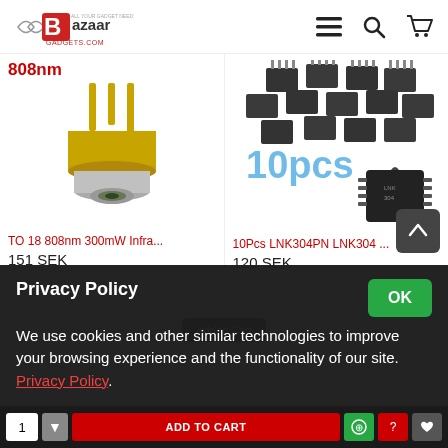[Figure (logo): Bazaar Gadgets logo with stylized B and text]
[Figure (photo): TO-18 808nm infrared laser diode component, gold metal case with pins]
808nm
TO 18 808nm 300mW Infra...
151 SEK
[Figure (photo): 10pcs LNK304PN IC chips, multiple black square chips with pins shown, and single DIP chip]
10pcs
10Pcs LNK304PN LNK304 ...
120 SEK
Privacy Policy
We use cookies and other similar technologies to improve your browsing experience and the functionality of our site. Privacy Policy.